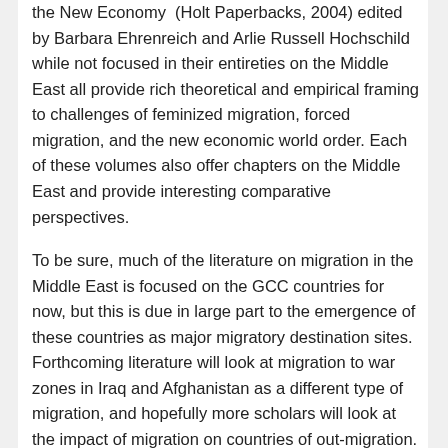the New Economy (Holt Paperbacks, 2004) edited by Barbara Ehrenreich and Arlie Russell Hochschild while not focused in their entireties on the Middle East all provide rich theoretical and empirical framing to challenges of feminized migration, forced migration, and the new economic world order. Each of these volumes also offer chapters on the Middle East and provide interesting comparative perspectives.
To be sure, much of the literature on migration in the Middle East is focused on the GCC countries for now, but this is due in large part to the emergence of these countries as major migratory destination sites. Forthcoming literature will look at migration to war zones in Iraq and Afghanistan as a different type of migration, and hopefully more scholars will look at the impact of migration on countries of out-migration. Currently, some of the most interesting work on this topic comes from ethnographers who are looking at